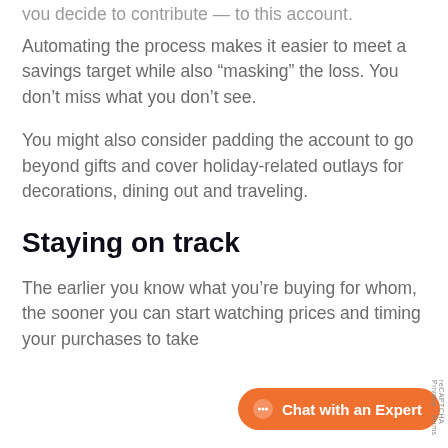you decide to contribute — to this account.
Automating the process makes it easier to meet a savings target while also “masking” the loss. You don’t miss what you don’t see.
You might also consider padding the account to go beyond gifts and cover holiday-related outlays for decorations, dining out and traveling.
Staying on track
The earlier you know what you’re buying for whom, the sooner you can start watching prices and timing your purchases to take